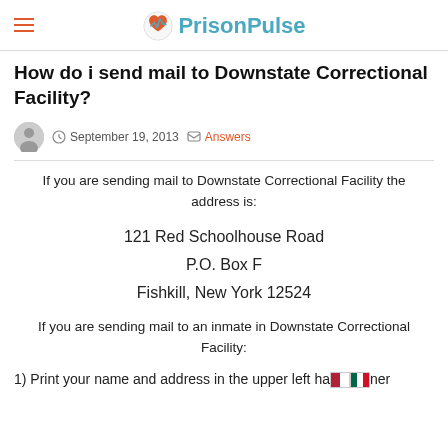Prison Pulse
How do i send mail to Downstate Correctional Facility?
September 19, 2013  Answers
If you are sending mail to Downstate Correctional Facility the address is:
121 Red Schoolhouse Road
P.O. Box F
Fishkill, New York 12524
If you are sending mail to an inmate in Downstate Correctional Facility:
1) Print your name and address in the upper left hand corner